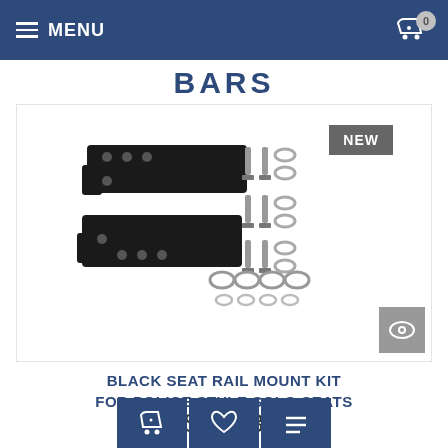MENU  0
BARS
[Figure (photo): Black seat rail mount kit hardware: two black metal bracket plates with holes, bolts, washers, and nuts arranged on a white background. A 'NEW' badge appears in the upper right.]
BLACK SEAT RAIL MOUNT KIT FOR POLICE STYLE SOLO SEATS
$58.73